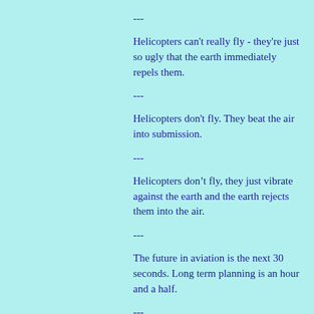---
Helicopters can't really fly - they're just so ugly that the earth immediately repels them.
---
Helicopters don't fly. They beat the air into submission.
---
Helicopters don’t fly, they just vibrate against the earth and the earth rejects them into the air.
---
The future in aviation is the next 30 seconds. Long term planning is an hour and a half.
---